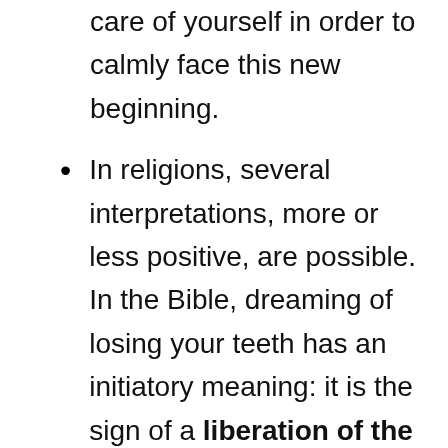care of yourself in order to calmly face this new beginning.
In religions, several interpretations, more or less positive, are possible. In the Bible, dreaming of losing your teeth has an initiatory meaning: it is the sign of a liberation of the wise word. But in the Muslim religion, the teeth can have different symbols: positively, they represent